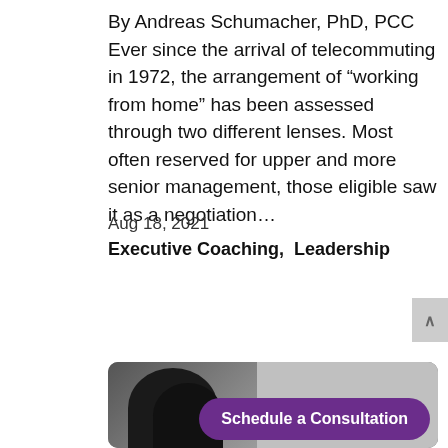By Andreas Schumacher, PhD, PCC Ever since the arrival of telecommuting in 1972, the arrangement of “working from home” has been assessed through two different lenses. Most often reserved for upper and more senior management, those eligible saw it as a negotiation…
Aug 18, 2021
Executive Coaching,  Leadership
[Figure (photo): Black and white photo of a person with curly hair, partially visible, with a purple 'Schedule a Consultation' button overlaid at the bottom right]